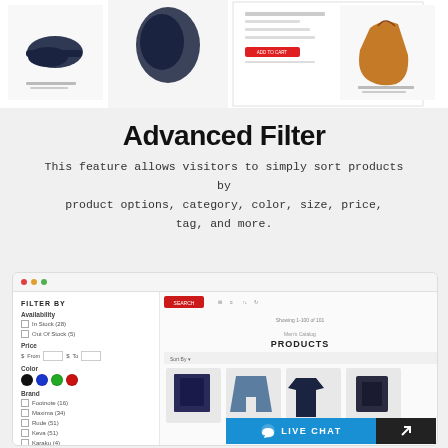[Figure (screenshot): E-commerce product listing screenshot showing shoes and a brown bag with product details panel]
Advanced Filter
This feature allows visitors to simply sort products by product options, category, color, size, price, tag, and more.
[Figure (screenshot): Browser window screenshot showing a filter sidebar with Availability checkboxes (In Stock 28, Out of Stock 5), Price range inputs ($ From / $ To), Color swatches (black, blue, green, red), Brand checkboxes (Footnote 16, Maxima 34, Rude 51, Keva 51, Karaku 4), and a products panel on the right showing Men's Catalog PRODUCTS grid with clothing thumbnails (backpack, shorts, shirt, backpack). Bottom right shows a LIVE CHAT button.]